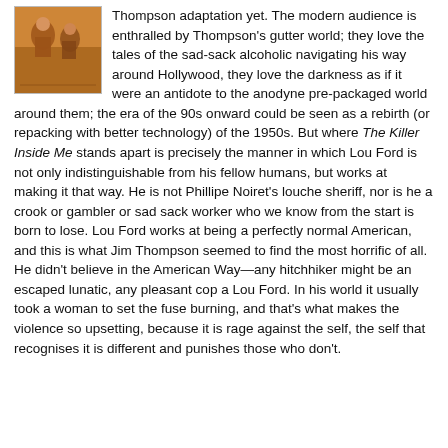[Figure (illustration): Book cover illustration showing figures in warm orange/brown tones, possibly depicting characters from a noir novel]
Thompson adaptation yet. The modern audience is enthralled by Thompson's gutter world; they love the tales of the sad-sack alcoholic navigating his way around Hollywood, they love the darkness as if it were an antidote to the anodyne pre-packaged world around them; the era of the 90s onward could be seen as a rebirth (or repacking with better technology) of the 1950s. But where The Killer Inside Me stands apart is precisely the manner in which Lou Ford is not only indistinguishable from his fellow humans, but works at making it that way. He is not Phillipe Noiret's louche sheriff, nor is he a crook or gambler or sad sack worker who we know from the start is born to lose. Lou Ford works at being a perfectly normal American, and this is what Jim Thompson seemed to find the most horrific of all. He didn't believe in the American Way—any hitchhiker might be an escaped lunatic, any pleasant cop a Lou Ford. In his world it usually took a woman to set the fuse burning, and that's what makes the violence so upsetting, because it is rage against the self, the self that recognises it is different and punishes those who don't.